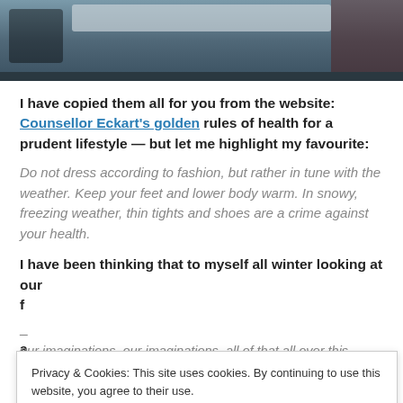[Figure (photo): A photograph showing a bicycle with handlebars and equipment, partial view from the top]
I have copied them all for you from the website: Counsellor Eckart's golden rules of health for a prudent lifestyle — but let me highlight my favourite:
Do not dress according to fashion, but rather in tune with the weather. Keep your feet and lower body warm. In snowy, freezing weather, thin tights and shoes are a crime against your health.
I have been thinking that to myself all winter looking at our
Privacy & Cookies: This site uses cookies. By continuing to use this website, you agree to their use. To find out more, including how to control cookies, see here: Cookie Policy
Close and accept